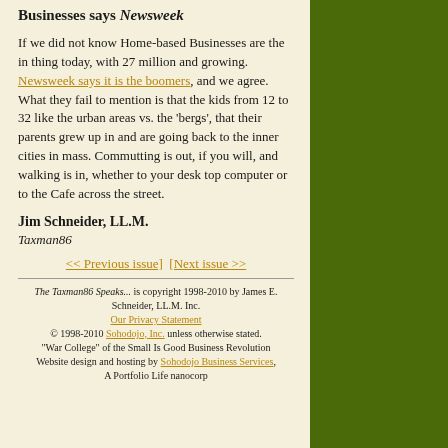Businesses says Newsweek
If we did not know Home-based Businesses are the in thing today, with 27 million and growing. Newsweek says it is the boomers, and we agree. What they fail to mention is that the kids from 12 to 32 like the urban areas vs. the 'bergs', that their parents grew up in and are going back to the inner cities in mass. Commutting is out, if you will, and walking is in, whether to your desk top computer or to the Cafe across the street.
Jim Schneider, LL.M.
Taxman86
<< Previous issue]   [Next issue >>
The Taxman86 Speaks... is copyright 1998-2010 by James E. Schneider, LL.M. Inc.
Our Privacy Statement
© 1998-2010 Sohodojo, Inc. unless otherwise stated.
"War College" of the Small Is Good Business Revolution
Website design and hosting by Sohodojo Business Services, A Portfolio Life nanocorp